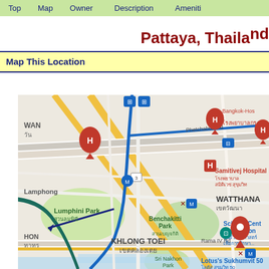Top  Map  Owner  Description  Ameniti
Pattaya, Thailand
Map This Location
[Figure (map): Google Maps screenshot showing Bangkok area including Lumphini Park, Benchakitti Park, Khlong Toei district, Watthana district, Samitivej Hospital, Science Centre for Education, Sri Nakhon Park, Phetchaburi Rd, Rama IV Rd, Lotus's Sukhumvit 50. Shows blue route line, red location pins, metro/BTS station markers.]